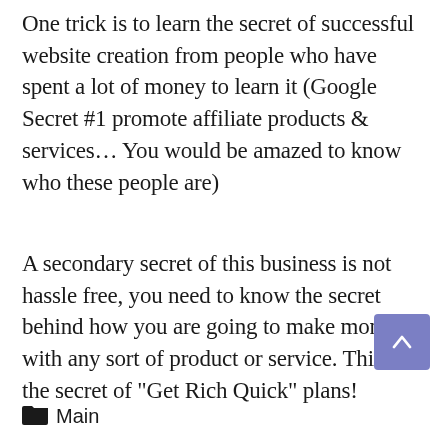One trick is to learn the secret of successful website creation from people who have spent a lot of money to learn it (Google Secret #1 promote affiliate products & services… You would be amazed to know who these people are)
A secondary secret of this business is not hassle free, you need to know the secret behind how you are going to make money with any sort of product or service. This is the secret of "Get Rich Quick" plans!
Main